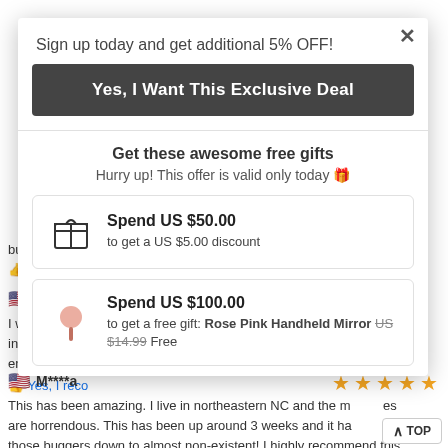Sign up today and get additional 5% OFF!
Yes, I Want This Exclusive Deal
Get these awesome free gifts
Hurry up! This offer is valid only today 🎁
Spend US $50.00 to get a US $5.00 discount
Spend US $100.00 to get a free gift: Rose Pink Handheld Mirror US $14.99 Free
but we can enj
👍 Yes, I reco
C***d
I was surprise in the backgro emptying. It w
👍 Yes, I reco
M****a
This has been amazing. I live in northeastern NC and the m es are horrendous. This has been up around 3 weeks and it ha those buggers down to almost non-existent! I highly recommend this